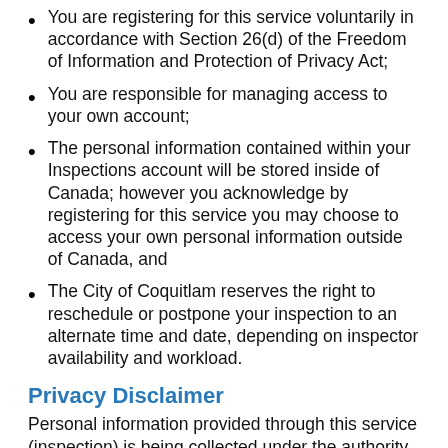You are registering for this service voluntarily in accordance with Section 26(d) of the Freedom of Information and Protection of Privacy Act;
You are responsible for managing access to your own account;
The personal information contained within your Inspections account will be stored inside of Canada; however you acknowledge by registering for this service you may choose to access your own personal information outside of Canada, and
The City of Coquitlam reserves the right to reschedule or postpone your inspection to an alternate time and date, depending on inspector availability and workload.
Privacy Disclaimer
Personal information provided through this service (inspection) is being collected under the authority of...